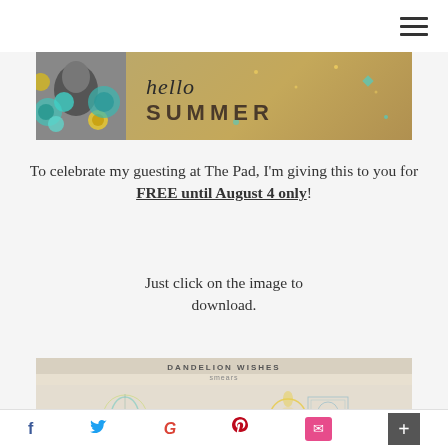[Figure (photo): Navigation top bar with hamburger menu icon on right side]
[Figure (photo): Hello Summer banner image with floral decorations, black and white photo on left, cursive 'hello' and bold 'SUMMER' text on tan/kraft paper background with teal dot decorations]
To celebrate my guesting at The Pad, I'm giving this to you for FREE until August 4 only!
Just click on the image to download.
[Figure (photo): Product preview image showing 'DANDELION WISHES smears' with floral stamp/smear decorations on cream background, including sunflower and botanical designs with 'AMERICAN TELEPHONE AND TELEGRAPH CO.' text visible]
f  [Twitter bird]  G  P  [envelope]  +